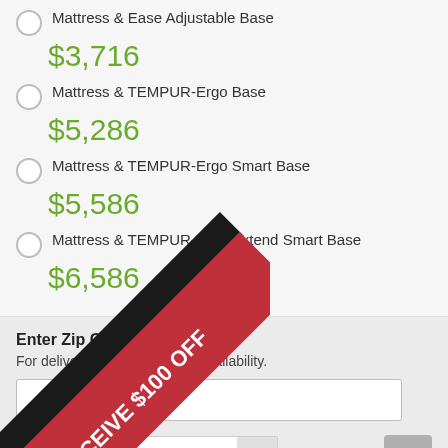Mattress & Ease Adjustable Base $3,716
Mattress & TEMPUR-Ergo Base $5,286
Mattress & TEMPUR-Ergo Smart Base $5,586
Mattress & TEMPUR-Ergo Extend Smart Base $6,586
Enter Zip Code * For delivery options and item availability.
1
[Figure (infographic): Diagonal red and dark banner ribbon overlaid on bottom-left of page reading '*RECEIVE $100 OFF']